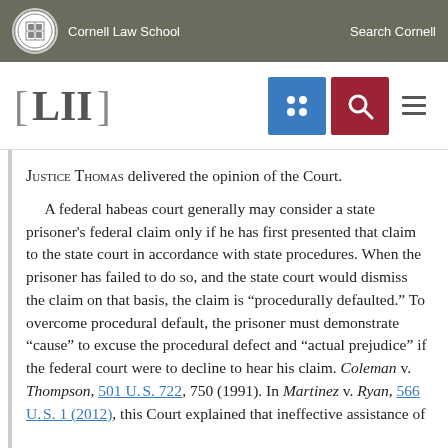Cornell Law School | Search Cornell
LII [navigation icons]
Justice Thomas delivered the opinion of the Court.

A federal habeas court generally may consider a state prisoner's federal claim only if he has first presented that claim to the state court in accordance with state procedures. When the prisoner has failed to do so, and the state court would dismiss the claim on that basis, the claim is “procedurally defaulted.” To overcome procedural default, the prisoner must demonstrate “cause” to excuse the procedural defect and “actual prejudice” if the federal court were to decline to hear his claim. Coleman v. Thompson, 501 U. S. 722, 750 (1991). In Martinez v. Ryan, 566 U. S. 1 (2012), this Court explained that ineffective assistance of